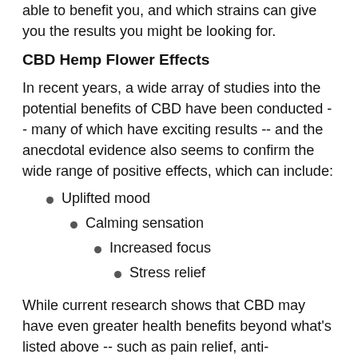able to benefit you, and which strains can give you the results you might be looking for.
CBD Hemp Flower Effects
In recent years, a wide array of studies into the potential benefits of CBD have been conducted -- many of which have exciting results -- and the anecdotal evidence also seems to confirm the wide range of positive effects, which can include:
Uplifted mood
Calming sensation
Increased focus
Stress relief
While current research shows that CBD may have even greater health benefits beyond what's listed above -- such as pain relief, anti-inflammatory properties, and assistance with psychological disorders -- it's important to note that it is not currently intended to treat, cure, or prevent